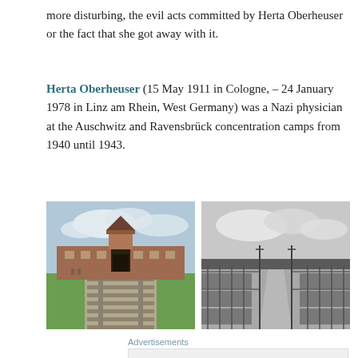more disturbing, the evil acts committed by Herta Oberheuser or the fact that she got away with it.
Herta Oberheuser (15 May 1911 in Cologne, – 24 January 1978 in Linz am Rhein, West Germany) was a Nazi physician at the Auschwitz and Ravensbrück concentration camps from 1940 until 1943.
[Figure (photo): Color photograph of the entrance gate and railway tracks leading into Auschwitz concentration camp]
[Figure (photo): Black and white photograph of Ravensbrück concentration camp showing rows of barracks]
Advertisements
Build a writing